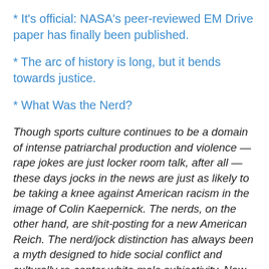* It's official: NASA's peer-reviewed EM Drive paper has finally been published.
* The arc of history is long, but it bends towards justice.
* What Was the Nerd?
Though sports culture continues to be a domain of intense patriarchal production and violence — rape jokes are just locker room talk, after all — these days jocks in the news are just as likely to be taking a knee against American racism in the image of Colin Kaepernick. The nerds, on the other hand, are shit-posting for a new American Reich. The nerd/jock distinction has always been a myth designed to hide social conflict and culturally re-center white male subjectivity. Now that the nerds have fully arrived, their revenge looks uglier than anything the jocks ever dreamed.